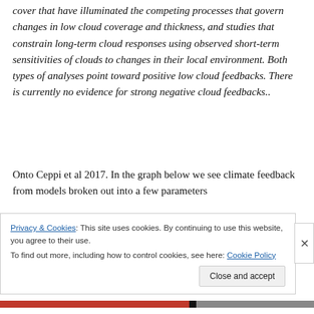cover that have illuminated the competing processes that govern changes in low cloud coverage and thickness, and studies that constrain long-term cloud responses using observed short-term sensitivities of clouds to changes in their local environment. Both types of analyses point toward positive low cloud feedbacks. There is currently no evidence for strong negative cloud feedbacks..
Onto Ceppi et al 2017. In the graph below we see climate feedback from models broken out into a few parameters
WV+LR – the combination of water vapor and lapse
Privacy & Cookies: This site uses cookies. By continuing to use this website, you agree to their use.
To find out more, including how to control cookies, see here: Cookie Policy
Close and accept